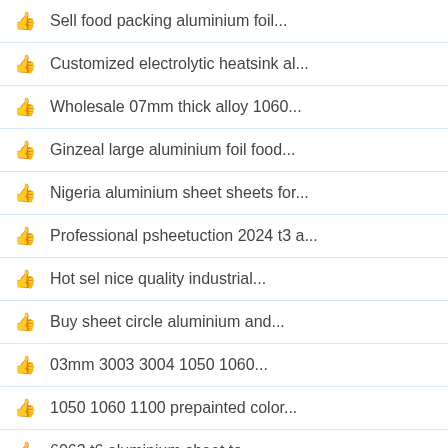Sell food packing aluminium foil...
Customized electrolytic heatsink al...
Wholesale 07mm thick alloy 1060...
Ginzeal large aluminium foil food...
Nigeria aluminium sheet sheets for...
Professional psheetuction 2024 t3 a...
Hot sel nice quality industrial...
Buy sheet circle aluminium and...
03mm 3003 3004 1050 1060...
1050 1060 1100 prepainted color...
6063 t6 aluminium sheet to...
Buy wholesale aluminium panel find...